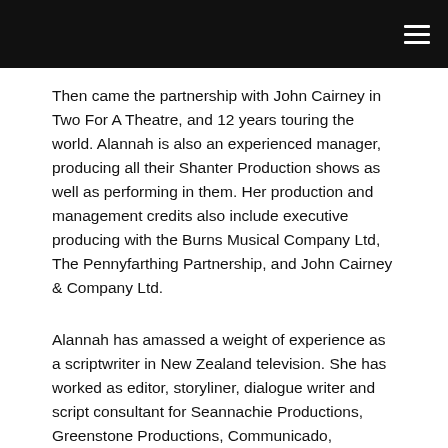[navigation bar with menu icon]
Then came the partnership with John Cairney in Two For A Theatre, and 12 years touring the world. Alannah is also an experienced manager, producing all their Shanter Production shows as well as performing in them. Her production and management credits also include executive producing with the Burns Musical Company Ltd, The Pennyfarthing Partnership, and John Cairney & Company Ltd.
Alannah has amassed a weight of experience as a scriptwriter in New Zealand television. She has worked as editor, storyliner, dialogue writer and script consultant for Seannachie Productions, Greenstone Productions, Communicado, Auckland University of Technology, Te Reo Productions, Marigold Films, UNITEC, Gibson Group, and South Pacific Pictures. She has served as President of the New Zealand Writers Guild (1999–2002) and completed a term as President of the Writers Guild in Scotland.